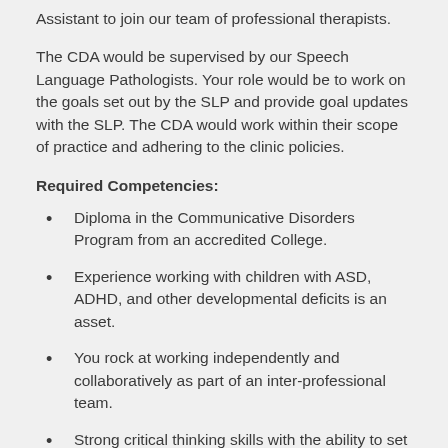Assistant to join our team of professional therapists.
The CDA would be supervised by our Speech Language Pathologists. Your role would be to work on the goals set out by the SLP and provide goal updates with the SLP. The CDA would work within their scope of practice and adhering to the clinic policies.
Required Competencies:
Diploma in the Communicative Disorders Program from an accredited College.
Experience working with children with ASD, ADHD, and other developmental deficits is an asset.
You rock at working independently and collaboratively as part of an inter-professional team.
Strong critical thinking skills with the ability to set priorities and work effectively in a fast-paced